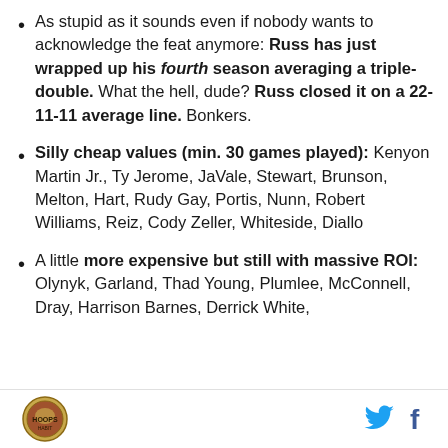As stupid as it sounds even if nobody wants to acknowledge the feat anymore: Russ has just wrapped up his fourth season averaging a triple-double. What the hell, dude? Russ closed it on a 22-11-11 average line. Bonkers.
Silly cheap values (min. 30 games played): Kenyon Martin Jr., Ty Jerome, JaVale, Stewart, Brunson, Melton, Hart, Rudy Gay, Portis, Nunn, Robert Williams, Reiz, Cody Zeller, Whiteside, Diallo
A little more expensive but still with massive ROI: Olynyk, Garland, Thad Young, Plumlee, McConnell, Dray, Harrison Barnes, Derrick White,